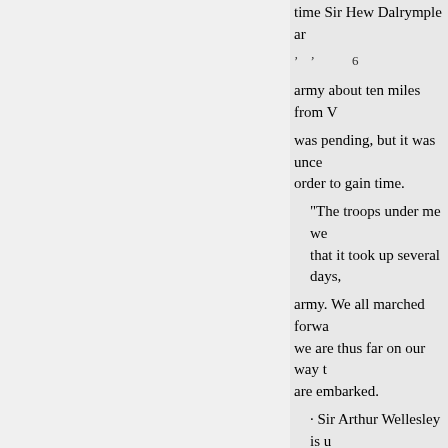time Sir Hew Dalrymple ar
' '   6
army about ten miles from V
was pending, but it was unce order to gain time.
"The troops under me we that it took up several days,
army. We all marched forwa we are thus far on our way t are embarked.
· Sir Arthur Wellesley is u
regretted than that, after he h with ; it is particularly to be
gretted that he was interfered
• The spirit shown by the the French acknowledge it. V
' ' '   6